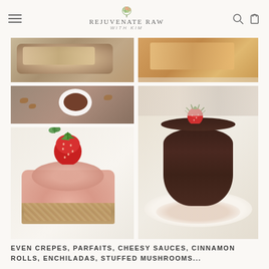Rejuvenate Raw With Kim
[Figure (photo): Collage of raw food photos including a baked good, orange bar, chocolate-almond sauce, strawberry dessert bar with granola crust, and a round chocolate cake topped with a strawberry and herb]
EVEN CREPES, PARFAITS, CHEESY SAUCES, CINNAMON ROLLS, ENCHILADAS, STUFFED MUSHROOMS...